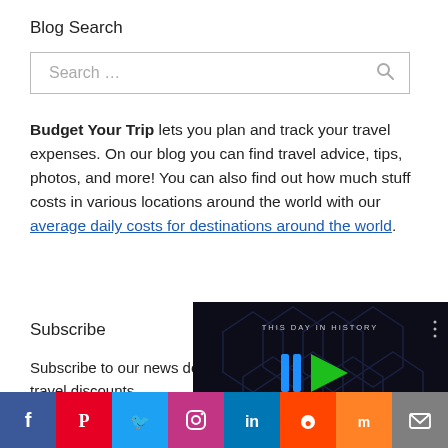Blog Search
Search …
Budget Your Trip lets you plan and track your travel expenses. On our blog you can find travel advice, tips, photos, and more! You can also find out how much stuff costs in various locations around the world with our average daily costs for destinations around the world.
Subscribe
Subscribe to our news deals, travel discounts
Name
[Figure (screenshot): Video thumbnail showing 'THIS DAY IN HISTORY' with blue play button graphic and SEPTEMBER text at bottom]
[Figure (infographic): Social sharing icon bar at bottom: Facebook, Pinterest, Twitter, Instagram, LinkedIn, Reddit, Mix, Email, Gmail, Flipboard/heart, More]